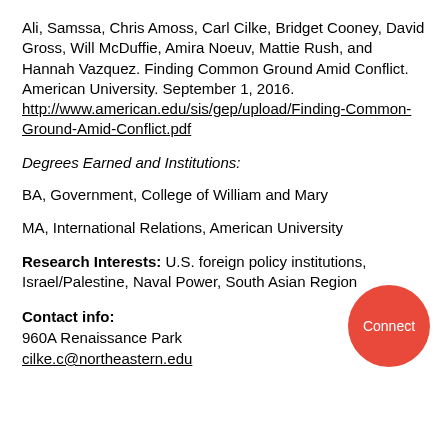Ali, Samssa, Chris Amoss, Carl Cilke, Bridget Cooney, David Gross, Will McDuffie, Amira Noeuv, Mattie Rush, and Hannah Vazquez. Finding Common Ground Amid Conflict. American University. September 1, 2016. http://www.american.edu/sis/gep/upload/Finding-Common-Ground-Amid-Conflict.pdf
Degrees Earned and Institutions:
BA, Government, College of William and Mary
MA, International Relations, American University
Research Interests: U.S. foreign policy institutions, Israel/Palestine, Naval Power, South Asian Region
Contact info:
960A Renaissance Park
cilke.c@northeastern.edu
[Figure (other): Red circular button with white text 'Connect']